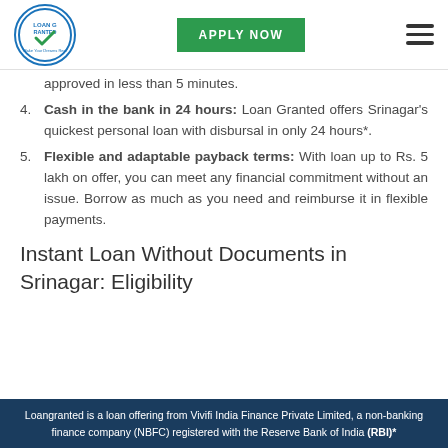[Figure (logo): Loan Granted circular logo with blue border and checkmark]
APPLY NOW
approved in less than 5 minutes.
Cash in the bank in 24 hours: Loan Granted offers Srinagar's quickest personal loan with disbursal in only 24 hours*.
Flexible and adaptable payback terms: With loan up to Rs. 5 lakh on offer, you can meet any financial commitment without an issue. Borrow as much as you need and reimburse it in flexible payments.
Instant Loan Without Documents in Srinagar: Eligibility
Loangranted is a loan offering from Vivifi India Finance Private Limited, a non-banking finance company (NBFC) registered with the Reserve Bank of India (RBI)*